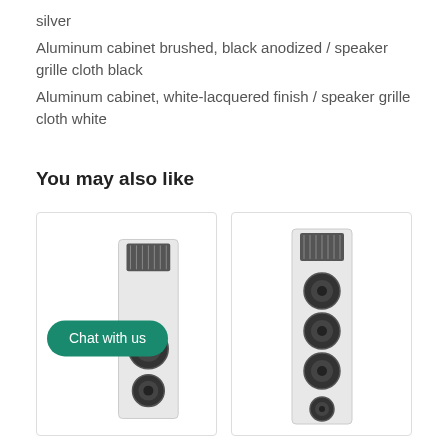silver
Aluminum cabinet brushed, black anodized / speaker grille cloth black
Aluminum cabinet, white-lacquered finish / speaker grille cloth white
You may also like
[Figure (photo): Floor-standing speaker with white aluminum cabinet, two woofers at bottom and tweeter/midrange at top. Green 'Chat with us' button overlay on left side.]
[Figure (photo): Floor-standing speaker with white aluminum cabinet, four woofers and tweeter/midrange array visible from front.]